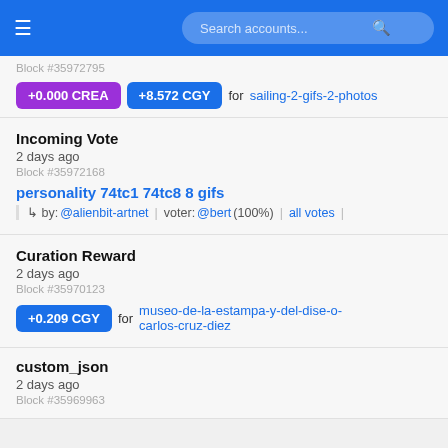Search accounts...
Block #35972795
+0.000 CREA  +8.572 CGY  for sailing-2-gifs-2-photos
Incoming Vote
2 days ago
Block #35972168
personality 74tc1 74tc8 8 gifs
↳ by: @alienbit-artnet  voter: @bert (100%)  all votes
Curation Reward
2 days ago
Block #35970123
+0.209 CGY  for museo-de-la-estampa-y-del-dise-o-carlos-cruz-diez
custom_json
2 days ago
Block #35969963